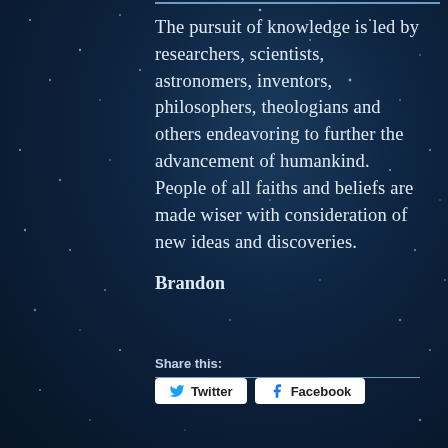[Figure (illustration): Dark navy blue starry night sky background with scattered white star/snow dots]
The pursuit of knowledge is led by researchers, scientists, astronomers, inventors, philosophers, theologians and others endeavoring to further the advancement of humankind. People of all faiths and beliefs are made wiser with consideration of new ideas and discoveries.
Brandon
Share this:
Twitter
Facebook